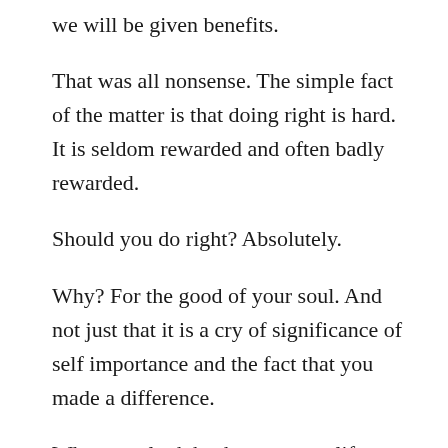we will be given benefits.
That was all nonsense. The simple fact of the matter is that doing right is hard. It is seldom rewarded and often badly rewarded.
Should you do right? Absolutely.
Why? For the good of your soul. And not just that it is a cry of significance of self importance and the fact that you made a difference.
When you look back upon your life, those times when you did what was right without reward are the times to be treasured, the times when your life gained its full